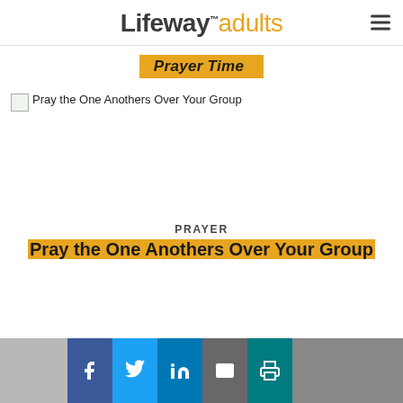Lifeway. adults
Prayer Time
[Figure (photo): Broken image placeholder with alt text: Pray the One Anothers Over Your Group]
PRAYER
Pray the One Anothers Over Your Group
[Figure (photo): Bottom strip: partial black-and-white photo on left and right, with social sharing buttons (Facebook, Twitter, LinkedIn, Email, Print) in the center]